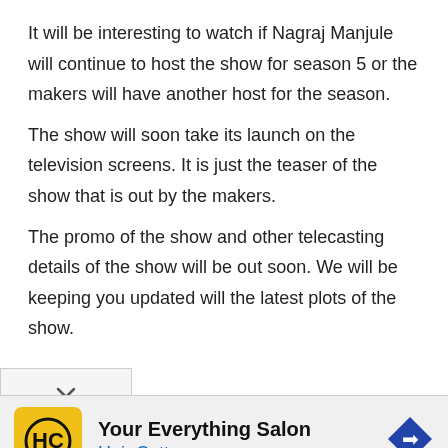It will be interesting to watch if Nagraj Manjule will continue to host the show for season 5 or the makers will have another host for the season.
The show will soon take its launch on the television screens. It is just the teaser of the show that is out by the makers.
The promo of the show and other telecasting details of the show will be out soon. We will be keeping you updated will the latest plots of the show.
[Figure (screenshot): Advertisement banner: Hair Cuttery 'Your Everything Salon' ad with yellow HC logo and blue navigation icon]